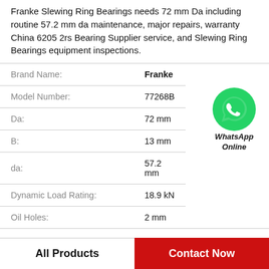Franke Slewing Ring Bearings needs 72 mm Da including routine 57.2 mm da maintenance, major repairs, warranty China 6205 2rs Bearing Supplier service, and Slewing Ring Bearings equipment inspections.
| Property | Value |
| --- | --- |
| Brand Name: | Franke |
| Model Number: | 77268B |
| Da: | 72 mm |
| B: | 13 mm |
| da: | 57.2 mm |
| Dynamic Load Rating: | 18.9 kN |
| Oil Holes: | 2 mm |
[Figure (logo): WhatsApp Online green phone icon with text 'WhatsApp Online' below]
All Products
Contact Now